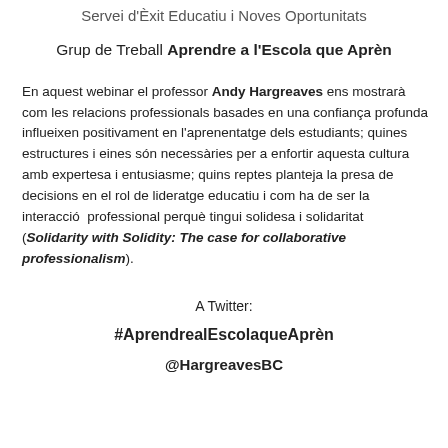Servei d'Èxit Educatiu i Noves Oportunitats
Grup de Treball Aprendre a l'Escola que Aprèn
En aquest webinar el professor Andy Hargreaves ens mostrarà com les relacions professionals basades en una confiança profunda influeixen positivament en l'aprenentatge dels estudiants; quines estructures i eines són necessàries per a enfortir aquesta cultura amb expertesa i entusiasme; quins reptes planteja la presa de decisions en el rol de lideratge educatiu i com ha de ser la interacció  professional perquè tingui solidesa i solidaritat (Solidarity with Solidity: The case for collaborative professionalism).
A Twitter:
#AprendrealEscolaqueAprèn
@HargreavesBC